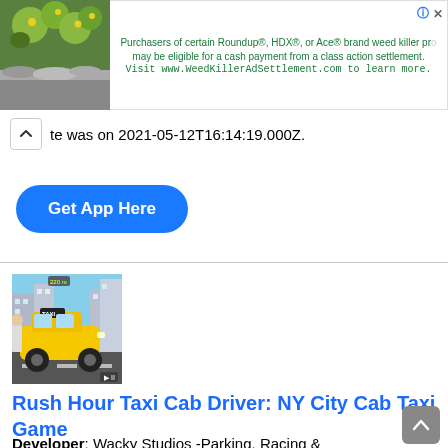[Figure (infographic): Advertisement banner with plant/flower image on left and green text about Roundup weed killer class action settlement on right]
te was on 2021-05-12T16:14:19.000Z.
Get App Here
[Figure (screenshot): Game screenshot showing a yellow taxi cab SUV in a city street scene]
Rush Hour Taxi Cab Driver: NY City Cab Taxi Game
Developer: Wacky Studios -Parking, Racing &